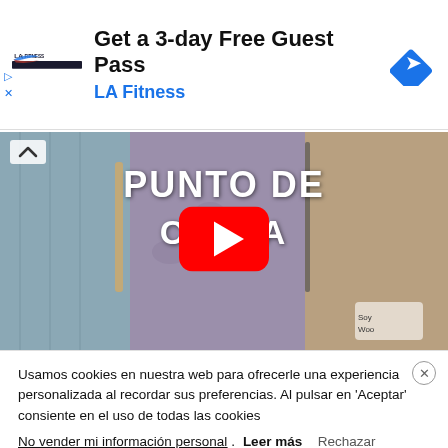[Figure (screenshot): LA Fitness advertisement banner with logo, 'Get a 3-day Free Guest Pass' headline, blue LA Fitness subtitle, and blue diamond navigation arrow icon]
[Figure (screenshot): YouTube video thumbnail showing crochet/knitting swatches with text 'PUNTO DE CEGA' and a red YouTube play button in the center. Watermark 'Soy Woo' in bottom right.]
Usamos cookies en nuestra web para ofrecerle una experiencia personalizada al recordar sus preferencias. Al pulsar en 'Aceptar' consiente en el uso de todas las cookies
No vender mi información personal. Leer más Rechazar
Aceptar  Configuración de cookies